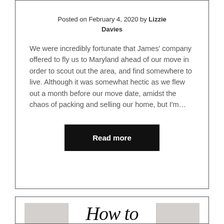Posted on February 4, 2020 by Lizzie Davies
We were incredibly fortunate that James' company offered to fly us to Maryland ahead of our move in order to scout out the area, and find somewhere to live. Although it was somewhat hectic as we flew out a month before our move date, amidst the chaos of packing and selling our home, but I'm…
Read more
[Figure (photo): Blog post thumbnail image with gray background and white card showing handwritten-style text 'How to']